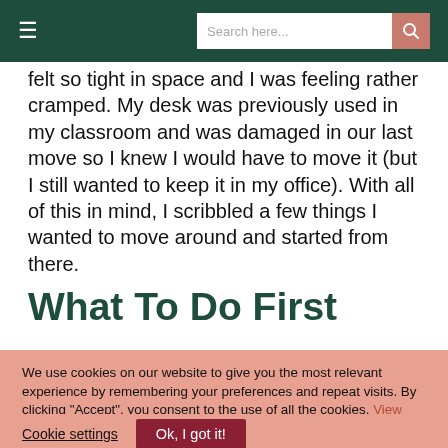≡  Search here...  🔍
felt so tight in space and I was feeling rather cramped. My desk was previously used in my classroom and was damaged in our last move so I knew I would have to move it (but I still wanted to keep it in my office). With all of this in mind, I scribbled a few things I wanted to move around and started from there.
What To Do First
We use cookies on our website to give you the most relevant experience by remembering your preferences and repeat visits. By clicking "Accept", you consent to the use of all the cookies. View Terms and Privacy Policy
Cookie settings  Ok, I got it!